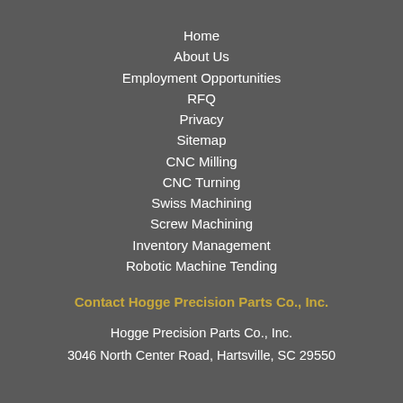Home
About Us
Employment Opportunities
RFQ
Privacy
Sitemap
CNC Milling
CNC Turning
Swiss Machining
Screw Machining
Inventory Management
Robotic Machine Tending
Contact Hogge Precision Parts Co., Inc.
Hogge Precision Parts Co., Inc.
3046 North Center Road, Hartsville, SC 29550